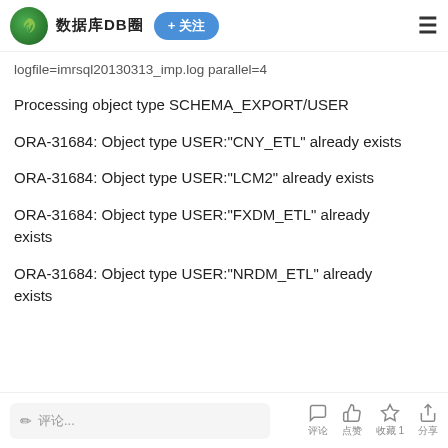数据库DB+ 关注
logfile=imrsql20130313_imp.log parallel=4
Processing object type SCHEMA_EXPORT/USER
ORA-31684: Object type USER:"CNY_ETL" already exists
ORA-31684: Object type USER:"LCM2" already exists
ORA-31684: Object type USER:"FXDM_ETL" already exists
ORA-31684: Object type USER:"NRDM_ETL" already exists
评论... 评论 点赞 收藏 1 分享